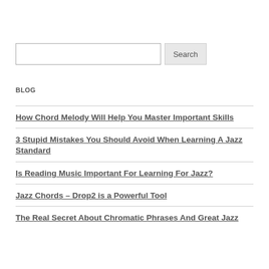[Figure (other): Search bar with text input field and Search button]
BLOG
How Chord Melody Will Help You Master Important Skills
3 Stupid Mistakes You Should Avoid When Learning A Jazz Standard
Is Reading Music Important For Learning For Jazz?
Jazz Chords – Drop2 is a Powerful Tool
The Real Secret About Chromatic Phrases And Great Jazz